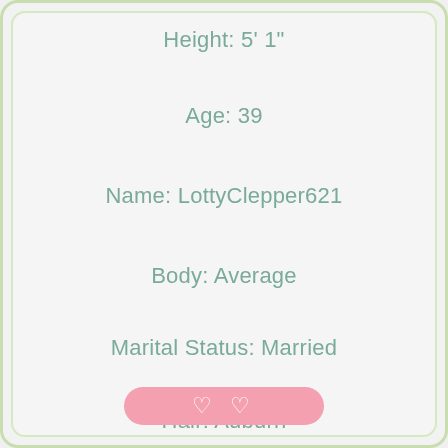Height: 5' 1"
Age: 39
Name: LottyClepper621
Body: Average
Marital Status: Married
Hair: Auburn
City: Murfreesboro, TN 37129